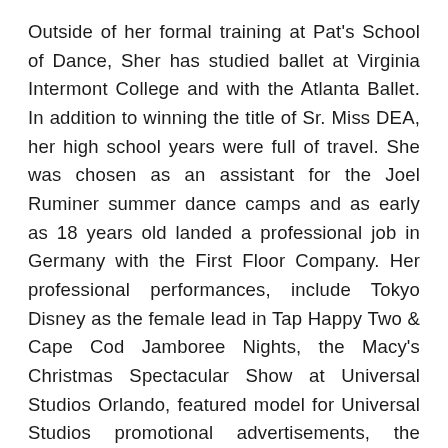Outside of her formal training at Pat's School of Dance, Sher has studied ballet at Virginia Intermont College and with the Atlanta Ballet. In addition to winning the title of Sr. Miss DEA, her high school years were full of travel. She was chosen as an assistant for the Joel Ruminer summer dance camps and as early as 18 years old landed a professional job in Germany with the First Floor Company. Her professional performances, include Tokyo Disney as the female lead in Tap Happy Two & Cape Cod Jamboree Nights, the Macy's Christmas Spectacular Show at Universal Studios Orlando, featured model for Universal Studios promotional advertisements, the Orange Bowl Parade and the Atlantis Resort in the Bahamas. Sher performed in as well